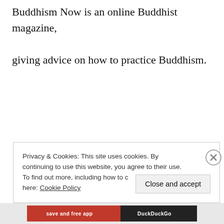Buddhism Now is an online Buddhist magazine, giving advice on how to practice Buddhism.
Privacy & Cookies: This site uses cookies. By continuing to use this website, you agree to their use. To find out more, including how to control cookies, see here: Cookie Policy
Close and accept